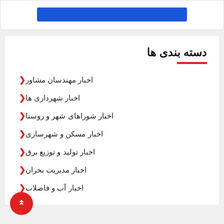[Figure (other): Blue banner/button bar at top of page]
دسته بندی ها
اخبار مهندسان مشاور
اخبار شهرداری ها
اخبار شوراهای شهر و روستا
اخبار مسکن و شهرسازی
اخبار تولید و توزیع برق
اخبار مدیریت بحران
اخبار آب و فاضلاب